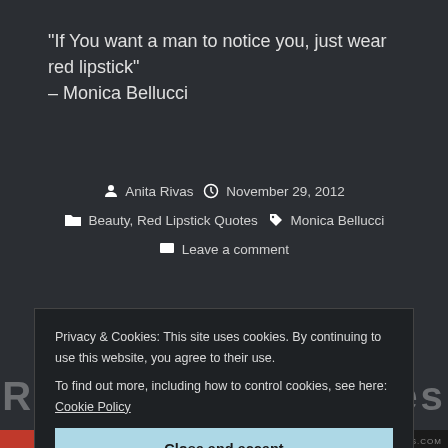“If You want a man to notice you, just wear red lipstick” – Monica Bellucci
Anita Rivas  November 29, 2012  Beauty, Red Lipstick Quotes  Monica Bellucci  Leave a comment
Red Lipstick Quotes f...
Privacy & Cookies: This site uses cookies. By continuing to use this website, you agree to their use.
To find out more, including how to control cookies, see here: Cookie Policy
Close and accept